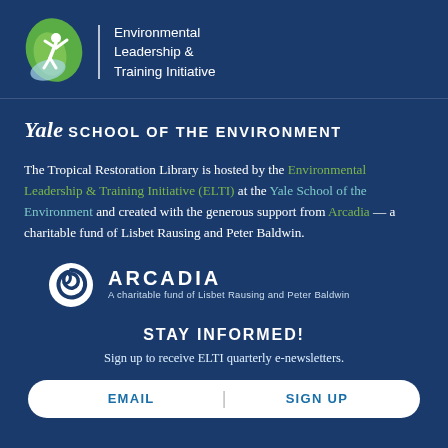[Figure (logo): ELTI logo with green leaf and person icon, 'elti' text, divider line, and 'Environmental Leadership & Training Initiative' text]
Yale SCHOOL OF THE ENVIRONMENT
The Tropical Restoration Library is hosted by the Environmental Leadership & Training Initiative (ELTI) at the Yale School of the Environment and created with the generous support from Arcadia — a charitable fund of Lisbet Rausing and Peter Baldwin.
[Figure (logo): Arcadia logo with circular swirl icon, ARCADIA in bold text, and subtitle 'A charitable fund of Lisbet Rausing and Peter Baldwin']
STAY INFORMED!
Sign up to receive ELTI quarterly e-newsletters.
EMAIL | SIGN UP